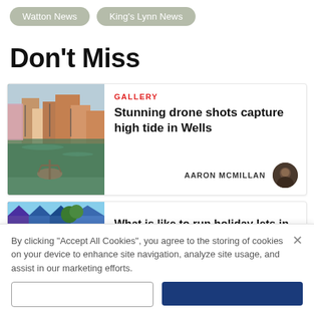Watton News | King's Lynn News
Don't Miss
[Figure (photo): Thumbnail image of a coastal harbour town with boats and water, with an anchor or sculpture visible in the foreground water.]
GALLERY
Stunning drone shots capture high tide in Wells
AARON MCMILLAN
[Figure (photo): Thumbnail image of colourful beach huts in blue and purple tones.]
What is like to run holiday lets in Wells?
By clicking "Accept All Cookies", you agree to the storing of cookies on your device to enhance site navigation, analyze site usage, and assist in our marketing efforts.